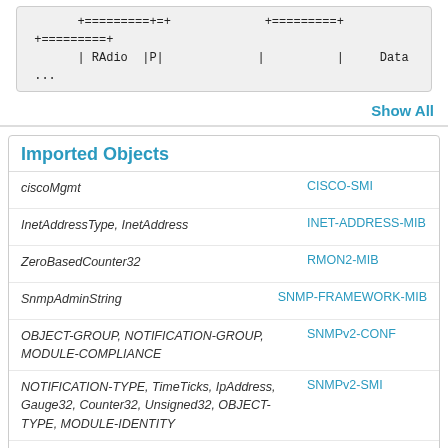[Figure (other): Monospace diagram snippet showing table-like structure with pipe characters, RAdio, P, Data labels]
Show All
Imported Objects
|  |  |
| --- | --- |
| ciscoMgmt | CISCO-SMI |
| InetAddressType, InetAddress | INET-ADDRESS-MIB |
| ZeroBasedCounter32 | RMON2-MIB |
| SnmpAdminString | SNMP-FRAMEWORK-MIB |
| OBJECT-GROUP, NOTIFICATION-GROUP, MODULE-COMPLIANCE | SNMPv2-CONF |
| NOTIFICATION-TYPE, TimeTicks, IpAddress, Gauge32, Counter32, Unsigned32, OBJECT-TYPE, MODULE-IDENTITY | SNMPv2-SMI |
| TruthValue, TEXTUAL-CONVENTION, DateAndTime | SNMPv2-TC |